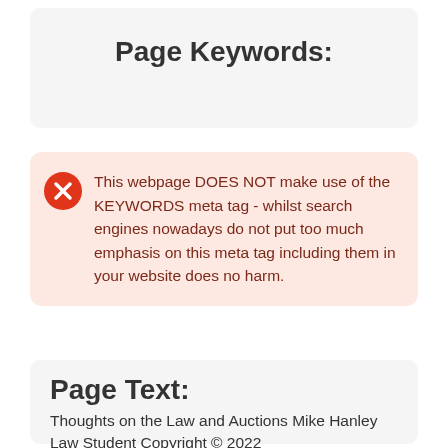Page Keywords:
This webpage DOES NOT make use of the KEYWORDS meta tag - whilst search engines nowadays do not put too much emphasis on this meta tag including them in your website does no harm.
Page Text:
Thoughts on the Law and Auctions Mike Hanley Law Student Copyright © 2022